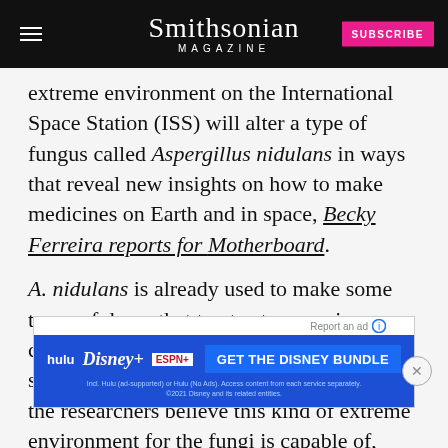Smithsonian MAGAZINE
extreme environment on the International Space Station (ISS) will alter a type of fungus called Aspergillus nidulans in ways that reveal new insights on how to make medicines on Earth and in space, Becky Ferreira reports for Motherboard.
A. nidulans is already used to make some types of drugs that treat osteoperosis, a condition that astronauts are particularly susceptible due to microgravity. However, the researchers believe this kind of extreme environment for the fungi is capable of, Shannon Hall reports for